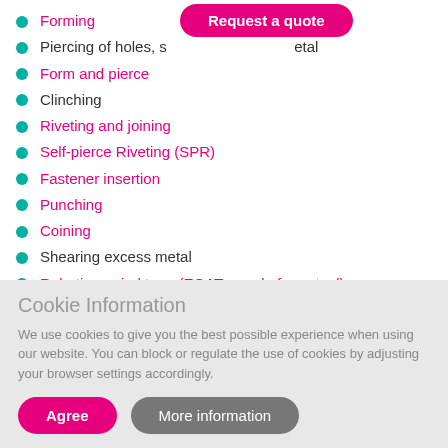Forming
Piercing of holes, s[...] metal
Form and pierce
Clinching
Riveting and joining
Self-pierce Riveting (SPR)
Fastener insertion
Punching
Coining
Shearing excess metal
Robotic carried tong (EOAT – end of arm tool)
Robotic cell press (loaded by robot)
Operator-loaded stations
Cookie Information
We use cookies to give you the best possible experience when using our website. You can block or regulate the use of cookies by adjusting your browser settings accordingly.
Agree   More information